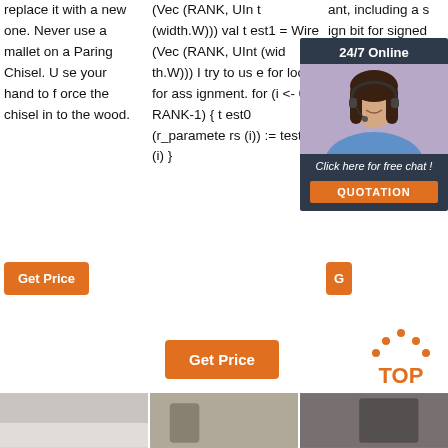replace it with a new one. Never use a mallet on a Paring Chisel. Use your hand to force the chisel in to the wood.
(Vec (RANK, UInt (width.W))) val test1 = Wire (Vec (RANK, UInt (width.W))) I try to use for loop for assignment. for (i <- 0 to RANK-1) { test0 (r_parameters (i)) := test1 (i) }
ant, including a sign bit for signed types. Bit widths can also be specified as literals or n be
[Figure (photo): Chat support popup with woman wearing headset, '24/7 Online' header, 'Click here for free chat!' text, QUOTATION button]
Get Price
Get Price
Get Price
[Figure (logo): TOP button with orange dots arranged in arc above 'TOP' text in orange]
[Figure (photo): Bottom strip of three photos]